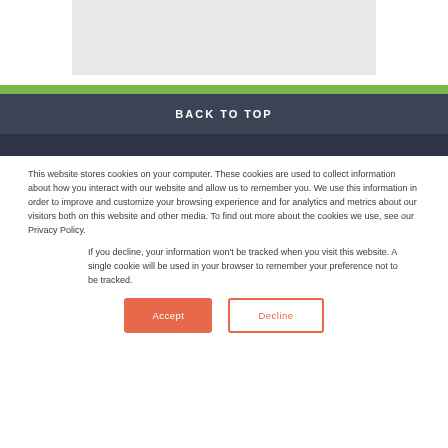[Figure (other): Gray placeholder image area at top of page]
BACK TO TOP
This website stores cookies on your computer. These cookies are used to collect information about how you interact with our website and allow us to remember you. We use this information in order to improve and customize your browsing experience and for analytics and metrics about our visitors both on this website and other media. To find out more about the cookies we use, see our Privacy Policy.
If you decline, your information won't be tracked when you visit this website. A single cookie will be used in your browser to remember your preference not to be tracked.
Accept   Decline